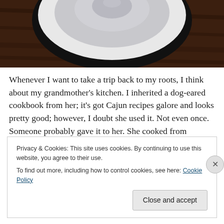[Figure (photo): Top-down photo of a white bowl or plate on a dark wooden surface, partially visible (cropped at top)]
Whenever I want to take a trip back to my roots, I think about my grandmother's kitchen. I inherited a dog-eared cookbook from her; it's got Cajun recipes galore and looks pretty good; however, I doubt she used it. Not even once. Someone probably gave it to her. She cooked from
Privacy & Cookies: This site uses cookies. By continuing to use this website, you agree to their use.
To find out more, including how to control cookies, see here: Cookie Policy
Close and accept